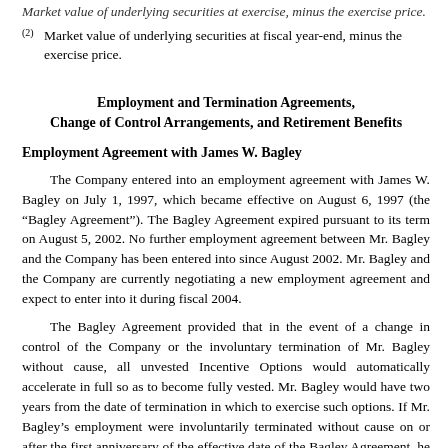Market value of underlying securities at exercise, minus the exercise price.
(2) Market value of underlying securities at fiscal year-end, minus the exercise price.
Employment and Termination Agreements, Change of Control Arrangements, and Retirement Benefits
Employment Agreement with James W. Bagley
The Company entered into an employment agreement with James W. Bagley on July 1, 1997, which became effective on August 6, 1997 (the "Bagley Agreement"). The Bagley Agreement expired pursuant to its term on August 5, 2002. No further employment agreement between Mr. Bagley and the Company has been entered into since August 2002. Mr. Bagley and the Company are currently negotiating a new employment agreement and expect to enter into it during fiscal 2004.
The Bagley Agreement provided that in the event of a change in control of the Company or the involuntary termination of Mr. Bagley without cause, all unvested Incentive Options would automatically accelerate in full so as to become fully vested. Mr. Bagley would have two years from the date of termination in which to exercise such options. If Mr. Bagley's employment were involuntarily terminated without cause on or after the first anniversary of the effective date of the Bagley Agreement, he would have been entitled to receive a lump sum payment of